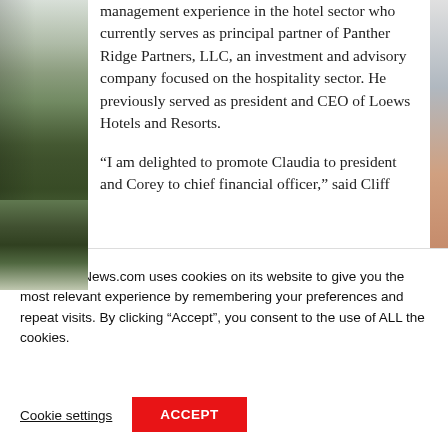[Figure (photo): Partial photo visible on the left side of the page, appears to be a colorful retail or hotel display. A narrow strip of another image is visible on the far right edge.]
management experience in the hotel sector who currently serves as principal partner of Panther Ridge Partners, LLC, an investment and advisory company focused on the hospitality sector. He previously served as president and CEO of Loews Hotels and Resorts.
“I am delighted to promote Claudia to president and Corey to chief financial officer,” said Cliff
EPRRetailNews.com uses cookies on its website to give you the most relevant experience by remembering your preferences and repeat visits. By clicking “Accept”, you consent to the use of ALL the cookies.
Cookie settings
ACCEPT